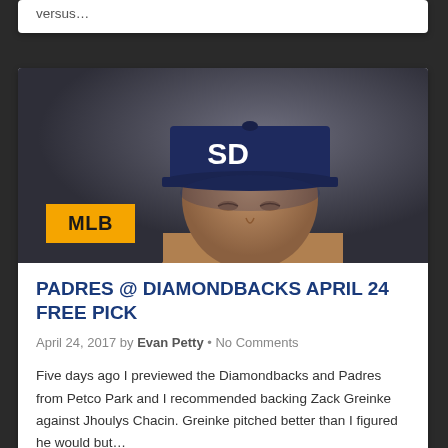versus…
[Figure (photo): Baseball player wearing a San Diego Padres navy blue cap with SD logo, looking downward against a dark gray background. An orange MLB badge overlays the lower-left of the image.]
PADRES @ DIAMONDBACKS APRIL 24 FREE PICK
April 24, 2017 by Evan Petty • No Comments
Five days ago I previewed the Diamondbacks and Padres from Petco Park and I recommended backing Zack Greinke against Jhoulys Chacin. Greinke pitched better than I figured he would but…